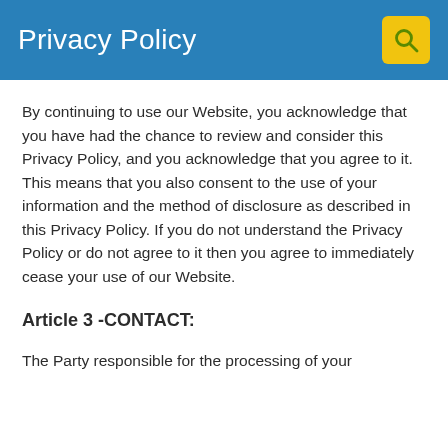Privacy Policy
By continuing to use our Website, you acknowledge that you have had the chance to review and consider this Privacy Policy, and you acknowledge that you agree to it. This means that you also consent to the use of your information and the method of disclosure as described in this Privacy Policy. If you do not understand the Privacy Policy or do not agree to it then you agree to immediately cease your use of our Website.
Article 3 -CONTACT:
The Party responsible for the processing of your